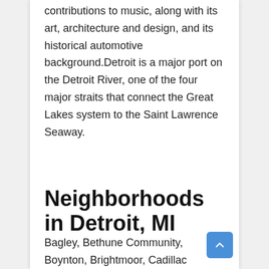contributions to music, along with its art, architecture and design, and its historical automotive background.Detroit is a major port on the Detroit River, one of the four major straits that connect the Great Lakes system to the Saint Lawrence Seaway.
Neighborhoods in Detroit, MI
Bagley, Bethune Community, Boynton, Brightmoor, Cadillac Community, Claytown, Dexter-Fenkell, East English Village, Eight Mile Wyoming, Far West Detroit, Five Points, Forest